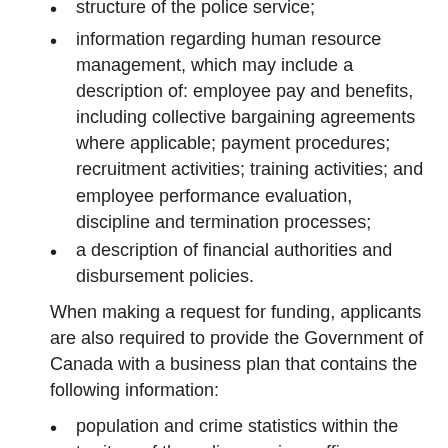structure of the police service;
information regarding human resource management, which may include a description of: employee pay and benefits, including collective bargaining agreements where applicable; payment procedures; recruitment activities; training activities; and employee performance evaluation, discipline and termination processes;
a description of financial authorities and disbursement policies.
When making a request for funding, applicants are also required to provide the Government of Canada with a business plan that contains the following information:
population and crime statistics within the territory of the police service;  officer complement levels and caseload of officers;
a multi-year budget that clearly outlines the